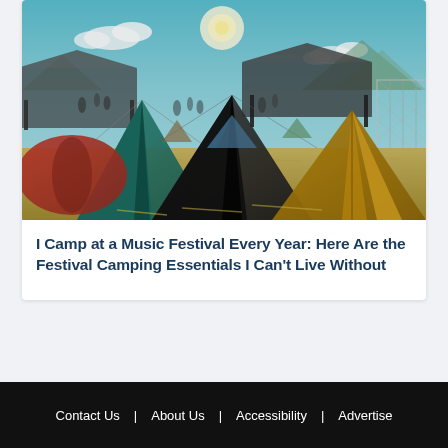[Figure (photo): Outdoor music festival camping area with multiple colorful tents including teal, red, dark grey, and orange-brown tents on hay-covered ground, with event canopies, crowds, and a blue sky with clouds in the background.]
I Camp at a Music Festival Every Year: Here Are the Festival Camping Essentials I Can't Live Without
Contact Us  |  About Us  |  Accessibility  |  Advertise